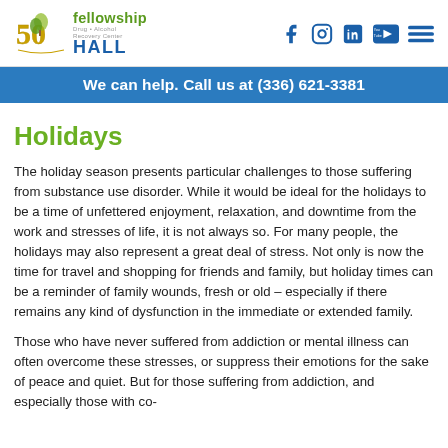Fellowship Hall - Drug Alcohol Recovery Center - 50th Anniversary
We can help. Call us at (336) 621-3381
Holidays
The holiday season presents particular challenges to those suffering from substance use disorder. While it would be ideal for the holidays to be a time of unfettered enjoyment, relaxation, and downtime from the work and stresses of life, it is not always so. For many people, the holidays may also represent a great deal of stress. Not only is now the time for travel and shopping for friends and family, but holiday times can be a reminder of family wounds, fresh or old – especially if there remains any kind of dysfunction in the immediate or extended family.
Those who have never suffered from addiction or mental illness can often overcome these stresses, or suppress their emotions for the sake of peace and quiet. But for those suffering from addiction, and especially those with co-